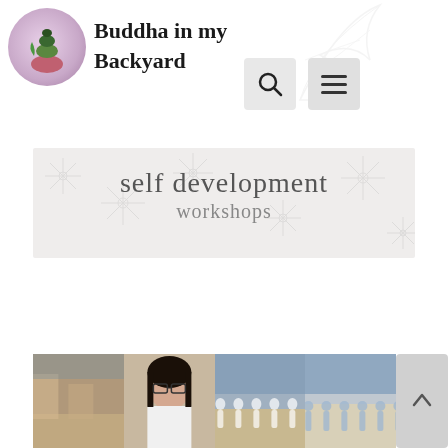[Figure (logo): Buddha in my Backyard website logo: circular emblem with stacked stones on pink-purple background, with decorative leaf illustration behind title]
Buddha in my Backyard
[Figure (illustration): Self development workshops banner with light grey floral/leaf background pattern and grey text]
[Figure (photo): Strip of three photos showing a woman with glasses, a group of people in white doing yoga/wellness activity outdoors, and students in school uniforms doing yoga]